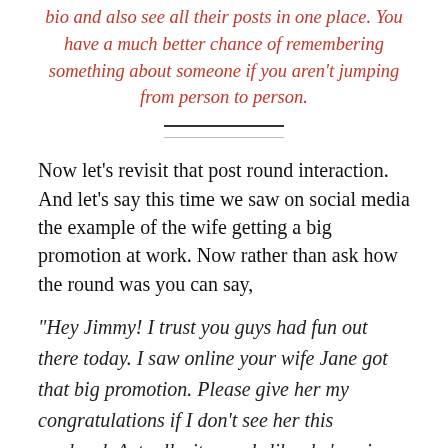bio and also see all their posts in one place. You have a much better chance of remembering something about someone if you aren't jumping from person to person.
Now let's revisit that post round interaction. And let's say this time we saw on social media the example of the wife getting a big promotion at work. Now rather than ask how the round was you can say,
“Hey Jimmy! I trust you guys had fun out there today. I saw online your wife Jane got that big promotion. Please give her my congratulations if I don’t see her this weekend. Actually, it sounds like she’s going to be really busy with the new